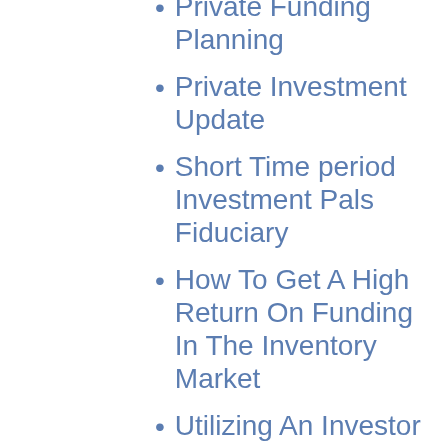Private Funding Planning
Private Investment Update
Short Time period Investment Pals Fiduciary
How To Get A High Return On Funding In The Inventory Market
Utilizing An Investor In Your Business